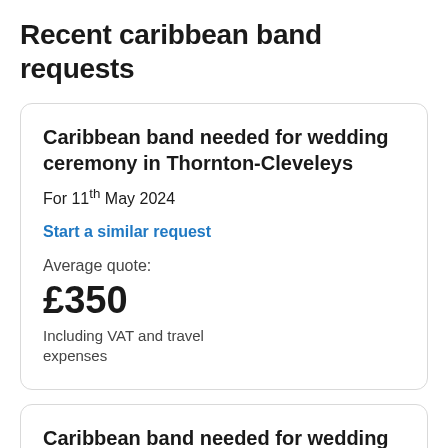Recent caribbean band requests
Caribbean band needed for wedding ceremony in Thornton-Cleveleys
For 11th May 2024
Start a similar request
Average quote:
£350
Including VAT and travel expenses
Caribbean band needed for wedding